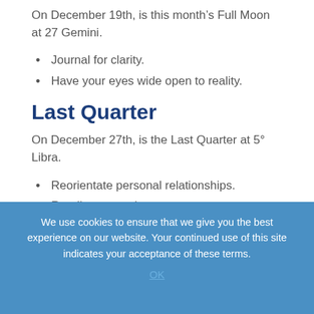On December 19th, is this month’s Full Moon at 27 Gemini.
Journal for clarity.
Have your eyes wide open to reality.
Last Quarter
On December 27th, is the Last Quarter at 5° Libra.
Reorientate personal relationships.
Readjust your plans now.
Pioneer plans as well.
We use cookies to ensure that we give you the best experience on our website. Your continued use of this site indicates your acceptance of these terms.